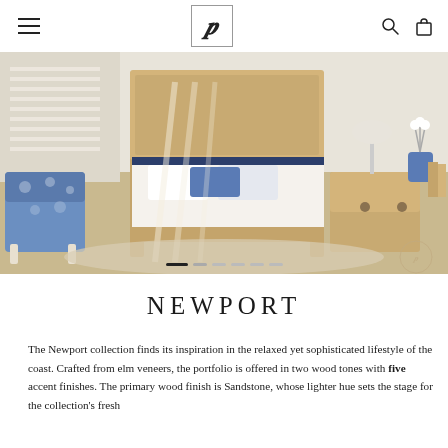Navigation bar with menu icon, B logo, search icon, and bag icon
[Figure (photo): Bedroom lifestyle photo showing a four-poster bed with white and blue bedding, blue and white floral accent chair, natural elm wood dresser and nightstand, light wood flooring, and soft natural light. Carousel dot indicators at bottom.]
NEWPORT
The Newport collection finds its inspiration in the relaxed yet sophisticated lifestyle of the coast. Crafted from elm veneers, the portfolio is offered in two wood tones with five accent finishes. The primary wood finish is Sandstone, whose lighter hue sets the stage for the collection's fresh contemporary yet traditional living. Built to the…